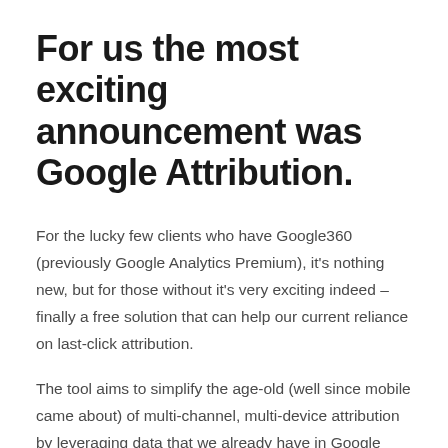For us the most exciting announcement was Google Attribution.
For the lucky few clients who have Google360 (previously Google Analytics Premium), it's nothing new, but for those without it's very exciting indeed – finally a free solution that can help our current reliance on last-click attribution.
The tool aims to simplify the age-old (well since mobile came about) of multi-channel, multi-device attribution by leveraging data that we already have in Google Analtyics, AdWords and DoubleClick Search.
Typically marketers have to rely on last click